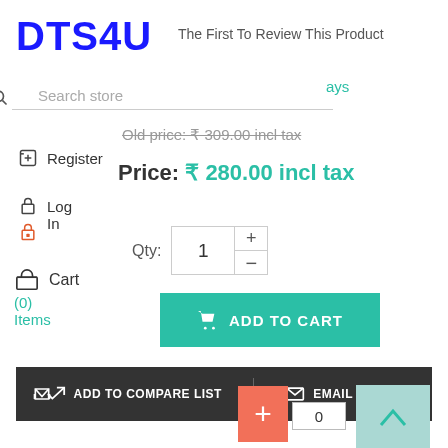DTS4U
The First To Review This Product
ays
Search store
Register
Log In
Cart (0) Items
Old price: ₹ 309.00 incl tax
Price: ₹ 280.00 incl tax
Qty: 1
ADD TO CART
ADD TO COMPARE LIST
EMAIL A FRIEND
+ 0